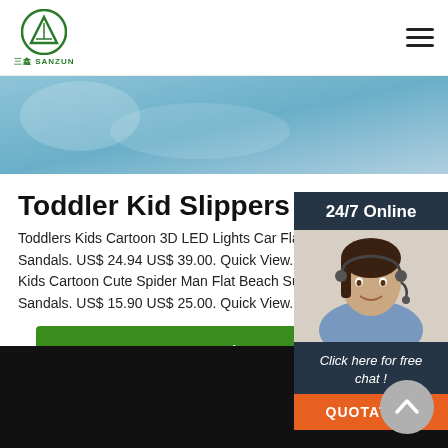三鑫 SANZUN logo and navigation
[Figure (photo): Hero banner with blue/teal gradient background, partial image visible]
Toddler Kid Slippers
Toddlers Kids Cartoon 3D LED Lights Car Flat Beach Sandals. US$ 24.94 US$ 39.00. Quick View. 36.4% Kids Cartoon Cute Spider Man Flat Beach Summer Sandals. US$ 15.90 US$ 25.00. Quick View. 37.53
[Figure (infographic): 24/7 Online chat widget with woman wearing headset, dark navy background, 'Click here for free chat!' text and orange QUOTATION button]
Get Price
[Figure (photo): Black video/media area at bottom of page]
[Figure (other): Gray circular scroll-to-top button with upward chevron]